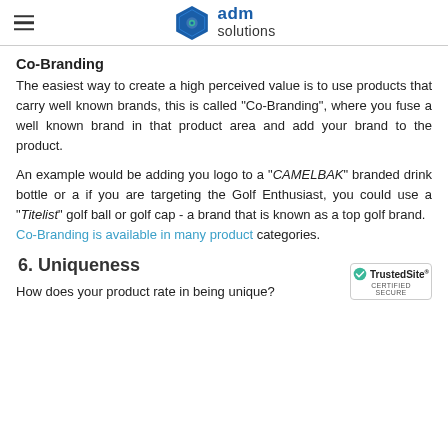adm solutions
Co-Branding
The easiest way to create a high perceived value is to use products that carry well known brands, this is called “Co-Branding”, where you fuse a well known brand in that product area and add your brand to the product.
An example would be adding you logo to a “CAMELBAK” branded drink bottle or a if you are targeting the Golf Enthusiast, you could use a “Titelist” golf ball or golf cap - a brand that is known as a top golf brand. Co-Branding is available in many product categories.
6. Uniqueness
How does your product rate in being unique?